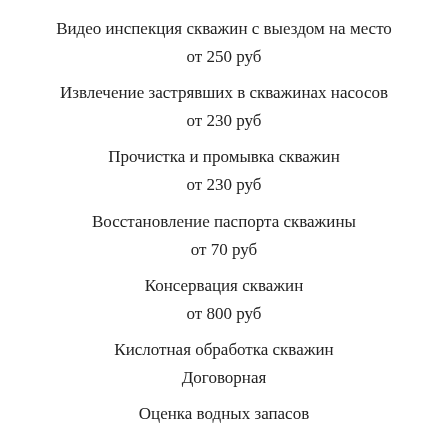Видео инспекция скважин с выездом на место
от 250 руб
Извлечение застрявших в скважинах насосов
от 230 руб
Прочистка и промывка скважин
от 230 руб
Восстановление паспорта скважины
от 70 руб
Консервация скважин
от 800 руб
Кислотная обработка скважин
Договорная
Оценка водных запасов